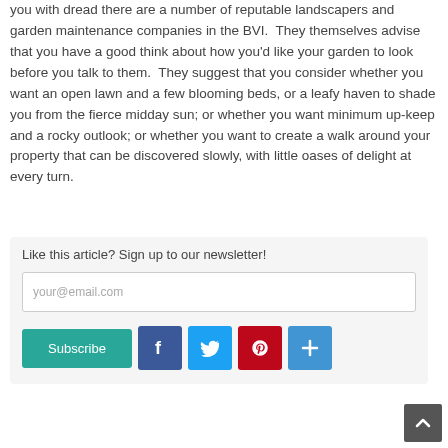you with dread there are a number of reputable landscapers and garden maintenance companies in the BVI.  They themselves advise that you have a good think about how you'd like your garden to look before you talk to them.  They suggest that you consider whether you want an open lawn and a few blooming beds, or a leafy haven to shade you from the fierce midday sun; or whether you want minimum up-keep and a rocky outlook; or whether you want to create a walk around your property that can be discovered slowly, with little oases of delight at every turn.
Like this article? Sign up to our newsletter!
your@email.com
Subscribe